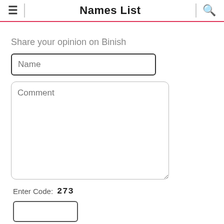Names List
Share your opinion on Binish
Name
Comment
Enter Code: 273
Share
Clear